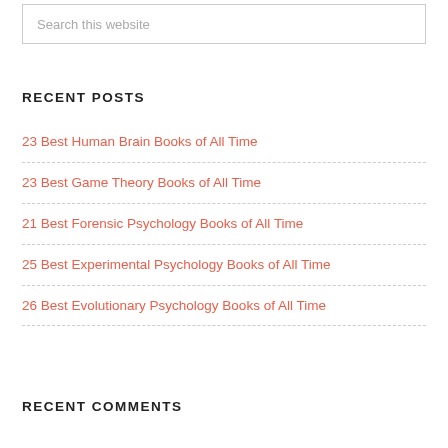Search this website
RECENT POSTS
23 Best Human Brain Books of All Time
23 Best Game Theory Books of All Time
21 Best Forensic Psychology Books of All Time
25 Best Experimental Psychology Books of All Time
26 Best Evolutionary Psychology Books of All Time
RECENT COMMENTS